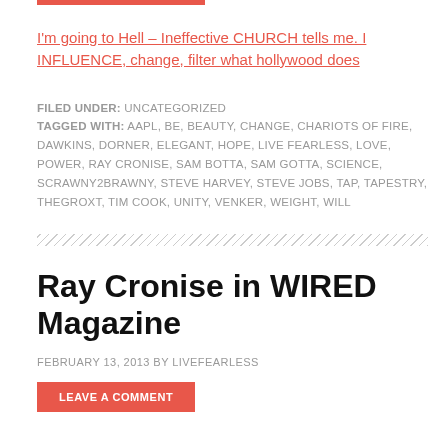I'm going to Hell – Ineffective CHURCH tells me. I INFLUENCE, change, filter what hollywood does
FILED UNDER: UNCATEGORIZED
TAGGED WITH: AAPL, BE, BEAUTY, CHANGE, CHARIOTS OF FIRE, DAWKINS, DORNER, ELEGANT, HOPE, LIVE FEARLESS, LOVE, POWER, RAY CRONISE, SAM BOTTA, SAM GOTTA, SCIENCE, SCRAWNY2BRAWNY, STEVE HARVEY, STEVE JOBS, TAP, TAPESTRY, THEGROXT, TIM COOK, UNITY, VENKER, WEIGHT, WILL
Ray Cronise in WIRED Magazine
FEBRUARY 13, 2013 BY LIVEFEARLESS
LEAVE A COMMENT